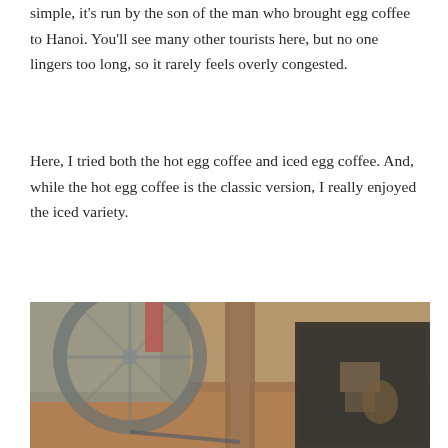simple, it's run by the son of the man who brought egg coffee to Hanoi. You'll see many other tourists here, but no one lingers too long, so it rarely feels overly congested.
Here, I tried both the hot egg coffee and iced egg coffee. And, while the hot egg coffee is the classic version, I really enjoyed the iced variety.
[Figure (photo): A blurry, shallow-depth-of-field interior photo of a café. On the left side is a bicycle wheel visible in the background. On the right side is a dark tray or case, possibly a camera bag. The floor appears to be terracotta tiles and there is a wooden door/wall in the center background.]